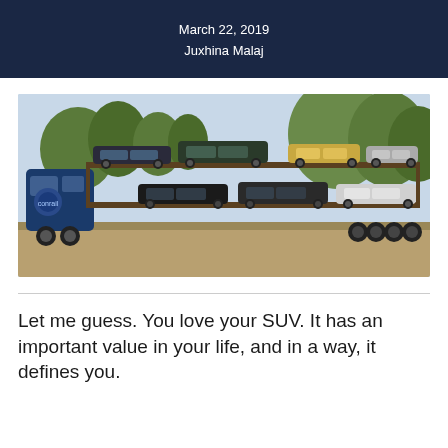March 22, 2019
Juxhina Malaj
[Figure (photo): A blue car transport truck carrying multiple cars on a two-level carrier, parked on a dirt road with trees in the background.]
Let me guess. You love your SUV. It has an important value in your life, and in a way, it defines you.